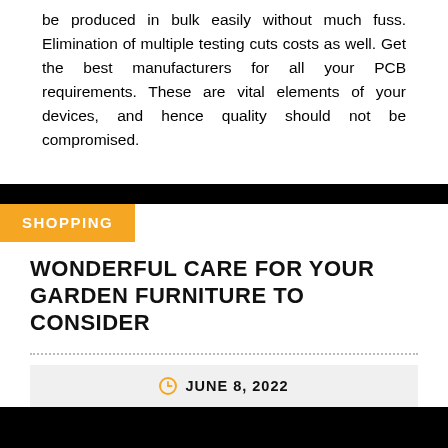be produced in bulk easily without much fuss. Elimination of multiple testing cuts costs as well. Get the best manufacturers for all your PCB requirements. These are vital elements of your devices, and hence quality should not be compromised.
SHOPPING
WONDERFUL CARE FOR YOUR GARDEN FURNITURE TO CONSIDER
JUNE 8, 2022